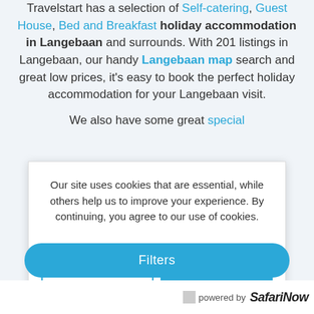Travelstart has a selection of Self-catering, Guest House, Bed and Breakfast holiday accommodation in Langebaan and surrounds. With 201 listings in Langebaan, our handy Langebaan map search and great low prices, it's easy to book the perfect holiday accommodation for your Langebaan visit.
We also have some great special
Our site uses cookies that are essential, while others help us to improve your experience. By continuing, you agree to our use of cookies.
Read our Cookie and Privacy Policy
No
Yes
Filters
powered by SafariNow